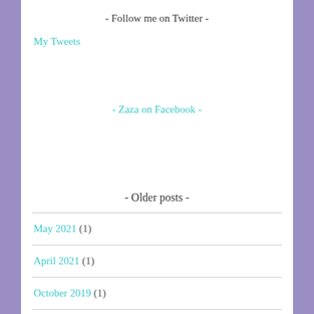- Follow me on Twitter -
My Tweets
- Zaza on Facebook -
- Older posts -
May 2021 (1)
April 2021 (1)
October 2019 (1)